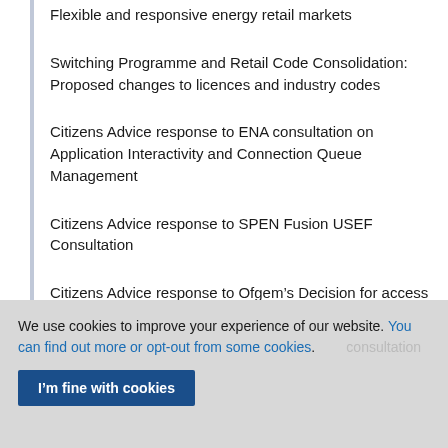Flexible and responsive energy retail markets
Switching Programme and Retail Code Consolidation: Proposed changes to licences and industry codes
Citizens Advice response to ENA consultation on Application Interactivity and Connection Queue Management
Citizens Advice response to SPEN Fusion USEF Consultation
Citizens Advice response to Ofgem’s Decision for access to half-hourly electricity data for settlement purposes
We use cookies to improve your experience of our website. You can find out more or opt-out from some cookies.
I’m fine with cookies